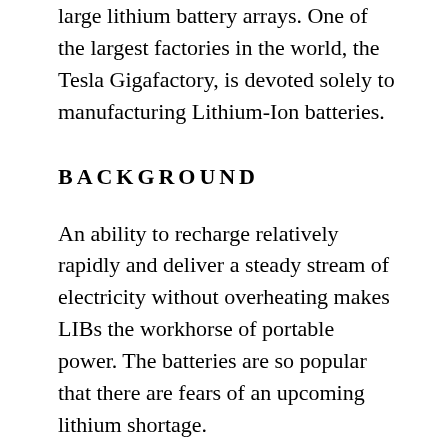large lithium battery arrays. One of the largest factories in the world, the Tesla Gigafactory, is devoted solely to manufacturing Lithium-Ion batteries.
BACKGROUND
An ability to recharge relatively rapidly and deliver a steady stream of electricity without overheating makes LIBs the workhorse of portable power. The batteries are so popular that there are fears of an upcoming lithium shortage.
There were several iterations of lithium batteries and the technology is still evolving.